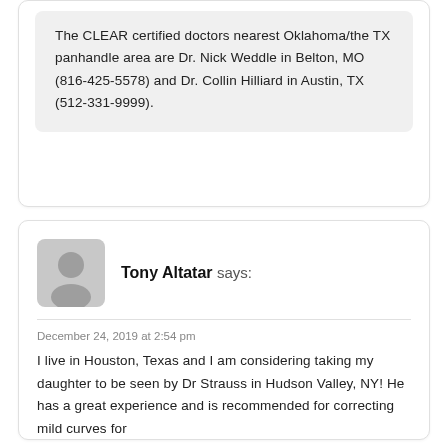The CLEAR certified doctors nearest Oklahoma/the TX panhandle area are Dr. Nick Weddle in Belton, MO (816-425-5578) and Dr. Collin Hilliard in Austin, TX (512-331-9999).
Tony Altatar says:
December 24, 2019 at 2:54 pm
I live in Houston, Texas and I am considering taking my daughter to be seen by Dr Strauss in Hudson Valley, NY! He has a great experience and is recommended for correcting mild curves for